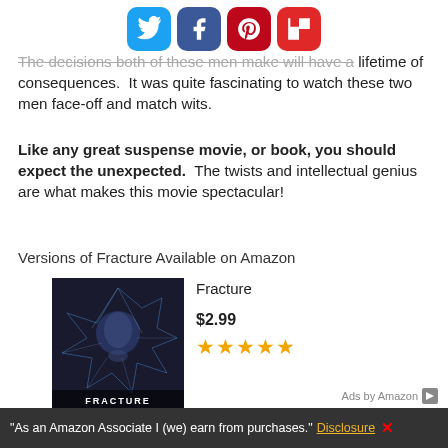Social sharing icons: Twitter, Facebook, Pinterest, Flipboard
The decisions both of these men make will have a lifetime of consequences. It was quite fascinating to watch these two men face-off and match wits.
Like any great suspense movie, or book, you should expect the unexpected. The twists and intellectual genius are what makes this movie spectacular!
Versions of Fracture Available on Amazon
[Figure (other): Movie poster for Fracture showing a man's face behind shattered glass with the title FRACTURE at the bottom]
Fracture
$2.99
★★★★★
Ads by Amazon
"As an Amazon Associate I (we) earn from purchases." Disclosure X